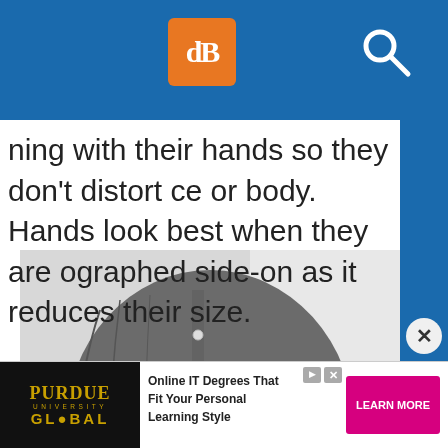dB [logo] [search icon]
ning with their hands so they don't distort ce or body. Hands look best when they are ographed side-on as it reduces their size.
[Figure (photo): Torso of a man wearing a dark grey button-up shirt with rolled sleeves, photographed from neck to waist against a light background.]
Online IT Degrees That Fit Your Personal Learning Style — PURDUE UNIVERSITY GLOBAL — LEARN MORE